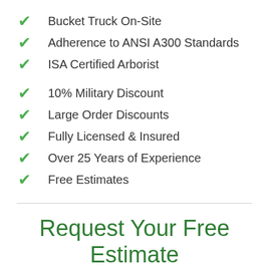Bucket Truck On-Site
Adherence to ANSI A300 Standards
ISA Certified Arborist
10% Military Discount
Large Order Discounts
Fully Licensed & Insured
Over 25 Years of Experience
Free Estimates
Request Your Free Estimate
Use the form below to request a free quote on your tree service needs in